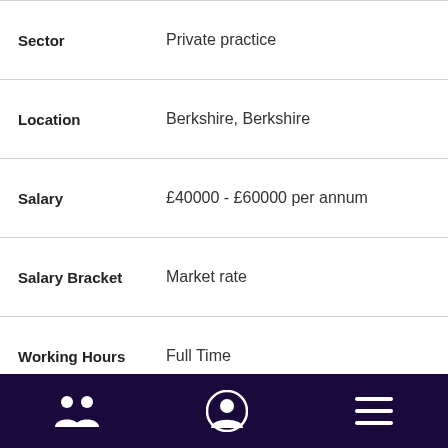| Field | Value |
| --- | --- |
| Sector | Private practice |
| Location | Berkshire, Berkshire |
| Salary | £40000 - £60000 per annum |
| Salary Bracket | Market rate |
| Working Hours | Full Time |
| Job Ref | 215288656 |
| Start Date | 13.06.2022 |